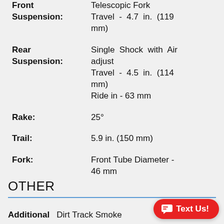| Specification | Value |
| --- | --- |
| Front Suspension: | Telescopic Fork
Travel - 4.7 in. (119 mm) |
| Rear Suspension: | Single Shock with Air adjust
Travel - 4.5 in. (114 mm)
Ride in - 63 mm |
| Rake: | 25° |
| Trail: | 5.9 in. (150 mm) |
| Fork: | Front Tube Diameter - 46 mm |
OTHER
Additional: Dirt Track Smoke...